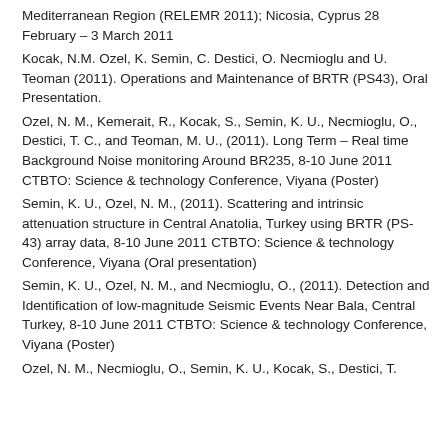Mediterranean Region (RELEMR 2011); Nicosia, Cyprus 28 February – 3 March 2011
Kocak, N.M. Ozel, K. Semin, C. Destici, O. Necmioglu and U. Teoman (2011). Operations and Maintenance of BRTR (PS43), Oral Presentation.
Ozel, N. M., Kemerait, R., Kocak, S., Semin, K. U., Necmioglu, O., Destici, T. C., and Teoman, M. U., (2011). Long Term – Real time Background Noise monitoring Around BR235, 8-10 June 2011 CTBTO: Science & technology Conference, Viyana (Poster)
Semin, K. U., Ozel, N. M., (2011). Scattering and intrinsic attenuation structure in Central Anatolia, Turkey using BRTR (PS-43) array data, 8-10 June 2011 CTBTO: Science & technology Conference, Viyana (Oral presentation)
Semin, K. U., Ozel, N. M., and Necmioglu, O., (2011). Detection and Identification of low-magnitude Seismic Events Near Bala, Central Turkey, 8-10 June 2011 CTBTO: Science & technology Conference, Viyana (Poster)
Ozel, N. M., Necmioglu, O., Semin, K. U., Kocak, S., Destici, T.